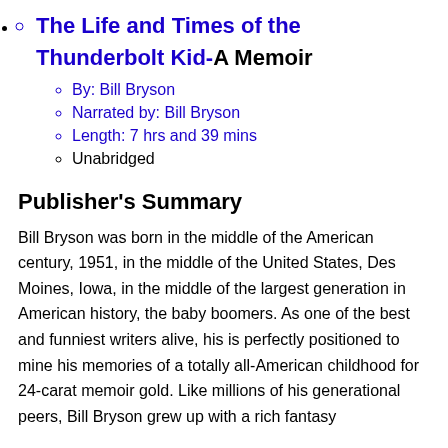The Life and Times of the Thunderbolt Kid-A Memoir
By: Bill Bryson
Narrated by: Bill Bryson
Length: 7 hrs and 39 mins
Unabridged
Publisher's Summary
Bill Bryson was born in the middle of the American century, 1951, in the middle of the United States, Des Moines, Iowa, in the middle of the largest generation in American history, the baby boomers. As one of the best and funniest writers alive, his is perfectly positioned to mine his memories of a totally all-American childhood for 24-carat memoir gold. Like millions of his generational peers, Bill Bryson grew up with a rich fantasy